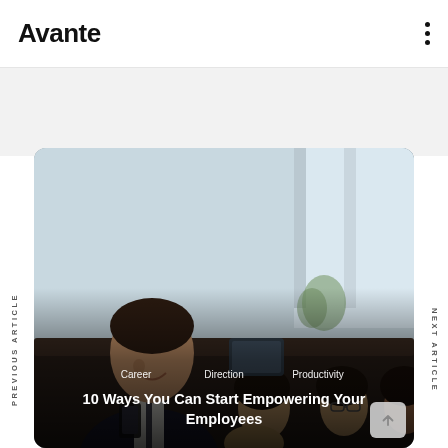Avante
[Figure (photo): Business professionals in a meeting room: a smiling man in foreground looking down at phone, women and a man seated at a conference table in the background]
Career   Direction   Productivity
10 Ways You Can Start Empowering Your Employees